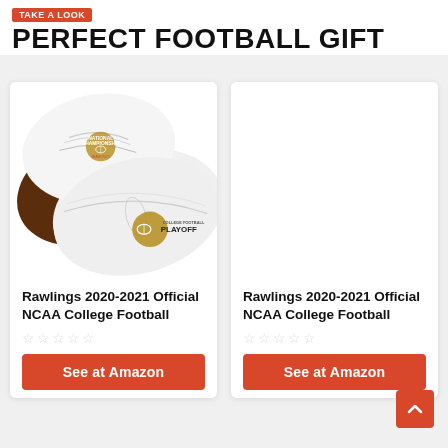TAKE A LOOK
PERFECT FOOTBALL GIFT
[Figure (photo): Two white Rawlings footballs with College Football Playoff National Championship Miami 2021 logos and College Football Playoff logos]
Rawlings 2020-2021 Official NCAA College Football
☆☆☆☆☆
See at Amazon
Rawlings 2020-2021 Official NCAA College Football
☆☆☆☆☆
See at Amazon